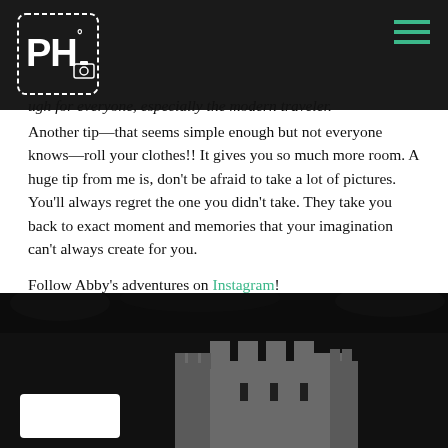PH logo and navigation
ugh for everyone, especially the modern traveler. Another tip—that seems simple enough but not everyone knows—roll your clothes!! It gives you so much more room. A huge tip from me is, don't be afraid to take a lot of pictures. You'll always regret the one you didn't take. They take you back to exact moment and memories that your imagination can't always create for you.
Follow Abby's adventures on Instagram!
January 16, 2019
[Figure (photo): Dark nighttime photo of a castle or fortress silhouette with gray stone battlements visible against a dark background. White card overlay element visible at bottom left.]